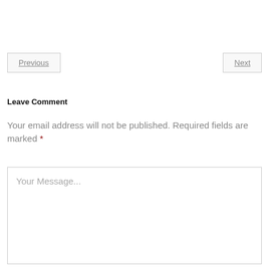Previous
Next
Leave Comment
Your email address will not be published. Required fields are marked *
Your Message...